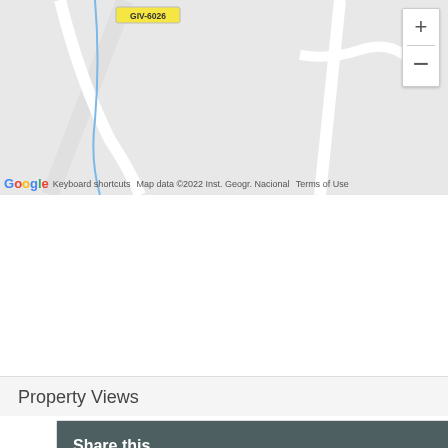[Figure (map): Google Maps screenshot showing road intersection with route label GIV-6026, zoom controls (+/-) in top right corner, Google logo and map attribution at bottom.]
Share this
Facebook
Twitter
WhatsApp
Email
Property Views